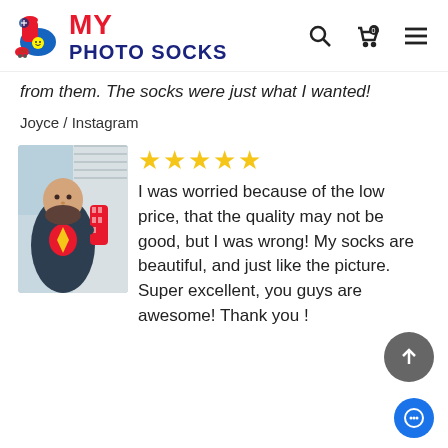MY PHOTO SOCKS
from them. The socks were just what I wanted!
Joyce / Instagram
[Figure (photo): Photo of a man wearing a Superman t-shirt and holding custom photo socks outdoors]
★★★★★ I was worried because of the low price, that the quality may not be good, but I was wrong! My socks are beautiful, and just like the picture. Super excellent, you guys are awesome! Thank you !